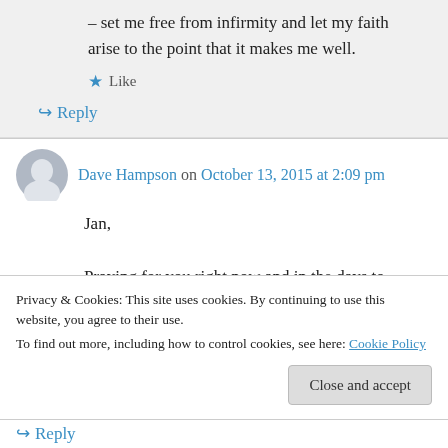– set me free from infirmity and let my faith arise to the point that it makes me well.
Like
Reply
Dave Hampson on October 13, 2015 at 2:09 pm
Jan,

Praying for you right now and in the days to come. I had a brain lesion and cyber knife and it
Privacy & Cookies: This site uses cookies. By continuing to use this website, you agree to their use.
To find out more, including how to control cookies, see here: Cookie Policy
Close and accept
Reply